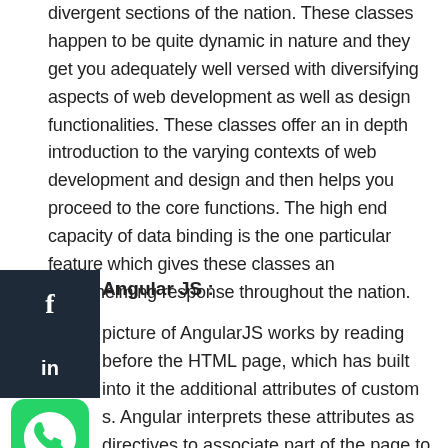divergent sections of the nation. These classes happen to be quite dynamic in nature and they get you adequately well versed with diversifying aspects of web development as well as design functionalities. These classes offer an in depth introduction to the varying contexts of web development and design and then helps you proceed to the core functions. The high end capacity of data binding is the one particular feature which gives these classes an overwhelming response throughout the nation.
Angular JS :
picture of AngularJS works by reading before the HTML page, which has built into it the additional attributes of custom s. Angular interprets these attributes as directives to associate part of the page to a model that is represented by standard JavaScript variables.